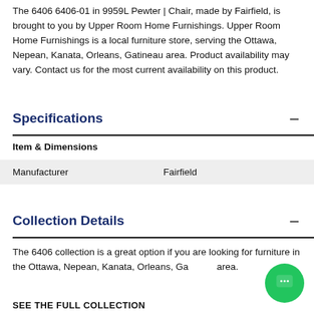The 6406 6406-01 in 9959L Pewter | Chair, made by Fairfield, is brought to you by Upper Room Home Furnishings. Upper Room Home Furnishings is a local furniture store, serving the Ottawa, Nepean, Kanata, Orleans, Gatineau area. Product availability may vary. Contact us for the most current availability on this product.
Specifications
Item & Dimensions
| Manufacturer | Fairfield |
Collection Details
The 6406 collection is a great option if you are looking for furniture in the Ottawa, Nepean, Kanata, Orleans, Gatineau area.
SEE THE FULL COLLECTION